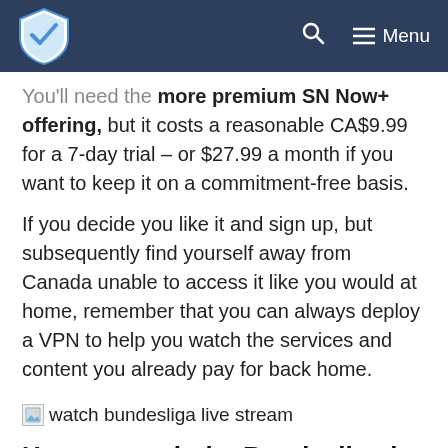VPN logo | Search | Menu
You'll need the more premium SN Now+ offering, but it costs a reasonable CA$9.99 for a 7-day trial – or $27.99 a month if you want to keep it on a commitment-free basis.
If you decide you like it and sign up, but subsequently find yourself away from Canada unable to access it like you would at home, remember that you can always deploy a VPN to help you watch the services and content you already pay for back home.
[Figure (photo): watch bundesliga live stream image placeholder]
How to watch the Bundesliga in Australia on TV or online